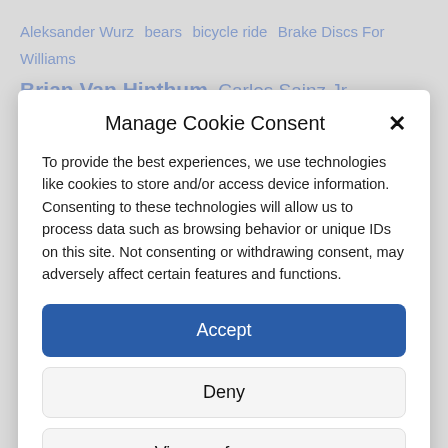Aleksander Wurz  bears  bicycle ride  Brake Discs For Williams  Brian Van Hinthum  Carlos Sainz Jr  Criticism
Manage Cookie Consent
To provide the best experiences, we use technologies like cookies to store and/or access device information. Consenting to these technologies will allow us to process data such as browsing behavior or unique IDs on this site. Not consenting or withdrawing consent, may adversely affect certain features and functions.
Accept
Deny
View preferences
Cookie Policy